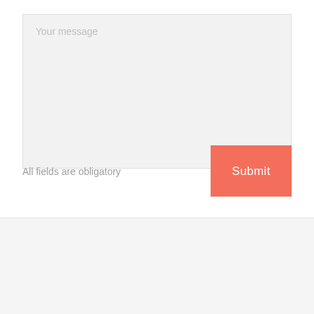[Figure (screenshot): A web form textarea with placeholder text 'Your message' and a resize handle in the bottom right corner. The textarea has a light gray background.]
All fields are obligatory
Submit